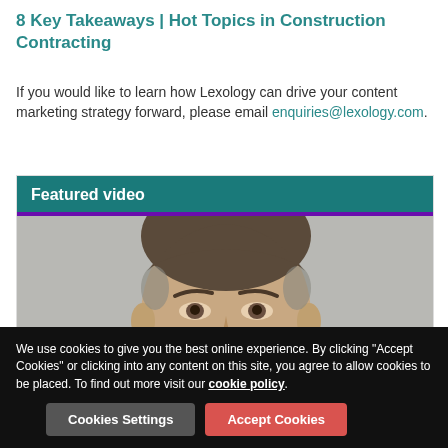8 Key Takeaways | Hot Topics in Construction Contracting
If you would like to learn how Lexology can drive your content marketing strategy forward, please email enquiries@lexology.com.
[Figure (screenshot): Featured video section with teal header bar, purple accent line, and a cropped photo of a man's face on a gray background. A purple 'Video' badge label is visible at the bottom left.]
We use cookies to give you the best online experience. By clicking "Accept Cookies" or clicking into any content on this site, you agree to allow cookies to be placed. To find out more visit our cookie policy